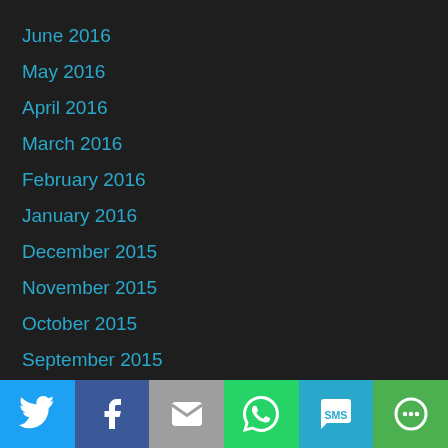June 2016
May 2016
April 2016
March 2016
February 2016
January 2016
December 2015
November 2015
October 2015
September 2015
August 2015
July 2015
June 2015
[Figure (infographic): Social share bar with buttons: Twitter (blue), Facebook (dark blue), Email (grey), WhatsApp (green), SMS (light blue), More (green)]